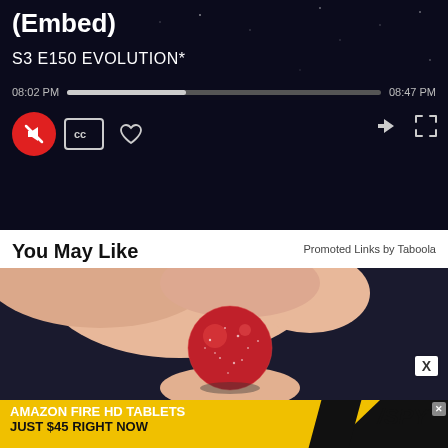(Embed)
S3 E150 EVOLUTION*
08:02 PM  [progress bar]  08:47 PM
[Figure (screenshot): Video player controls: muted (red circle with mute icon), CC button, heart/favorite button, share button, expand/fullscreen button]
You May Like
Promoted Links by Taboola
[Figure (photo): Close-up photo of fingers holding a small red sugary gummy candy against a dark background]
X
AMAZON FIRE HD TABLETS JUST $45 RIGHT NOW /SPY